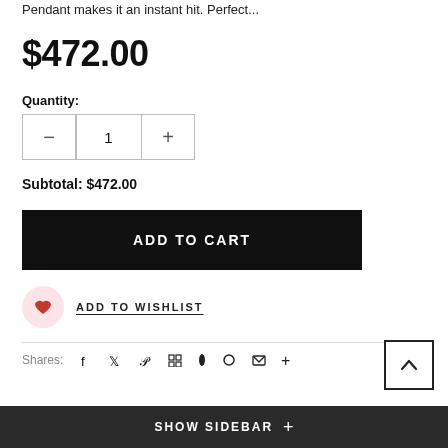Pendant makes it an instant hit. Perfect...
$472.00
Quantity:
Subtotal: $472.00
ADD TO CART
ADD TO WISHLIST
Shares:
SHOW SIDEBAR +